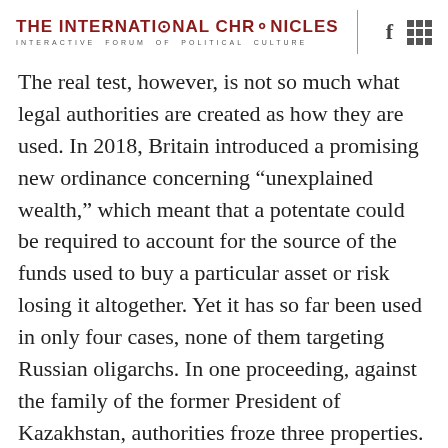THE INTERNATIONAL CHRONICLES
INTERACTIVE FORUM OF POLITICAL CULTURE
The real test, however, is not so much what legal authorities are created as how they are used. In 2018, Britain introduced a promising new ordinance concerning “unexplained wealth,” which meant that a potentate could be required to account for the source of the funds used to buy a particular asset or risk losing it altogether. Yet it has so far been used in only four cases, none of them targeting Russian oligarchs. In one proceeding, against the family of the former President of Kazakhstan, authorities froze three properties. After the move was challenged in court, though, the order was reversed. If a lack of political will was to blame for the paucity of cases, so was a lack of